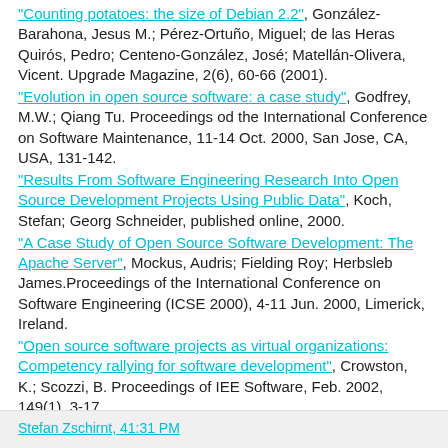"Counting potatoes: the size of Debian 2.2", González-Barahona, Jesus M.; Pérez-Ortuño, Miguel; de las Heras Quirós, Pedro; Centeno-González, José; Matellán-Olivera, Vicent. Upgrade Magazine, 2(6), 60-66 (2001).
"Evolution in open source software: a case study", Godfrey, M.W.; Qiang Tu. Proceedings od the International Conference on Software Maintenance, 11-14 Oct. 2000, San Jose, CA, USA, 131-142.
"Results From Software Engineering Research Into Open Source Development Projects Using Public Data", Koch, Stefan; Georg Schneider, published online, 2000.
"A Case Study of Open Source Software Development: The Apache Server", Mockus, Audris; Fielding Roy; Herbsleb James.Proceedings of the International Conference on Software Engineering (ICSE 2000), 4-11 Jun. 2000, Limerick, Ireland.
"Open source software projects as virtual organizations: Competency rallying for software development", Crowston, K.; Scozzi, B. Proceedings of IEE Software, Feb. 2002, 149(1), 3-17.
Stefan Zschirnt, 41:31 PM